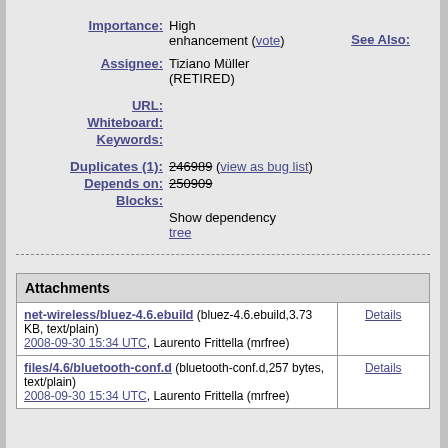Importance: High enhancement (vote)
See Also:
Assignee: Tiziano Müller (RETIRED)
URL:
Whiteboard:
Keywords:
Duplicates (1): 246989 (view as bug list)
Depends on: 250909
Blocks:
Show dependency tree
| Attachments |  |
| --- | --- |
| net-wireless/bluez-4.6.ebuild (bluez-4.6.ebuild,3.73 KB, text/plain)
2008-09-30 15:34 UTC, Laurento Frittella (mrfree) | Details |
| files/4.6/bluetooth-conf.d (bluetooth-conf.d,257 bytes, text/plain)
2008-09-30 15:34 UTC, Laurento Frittella (mrfree) | Details |